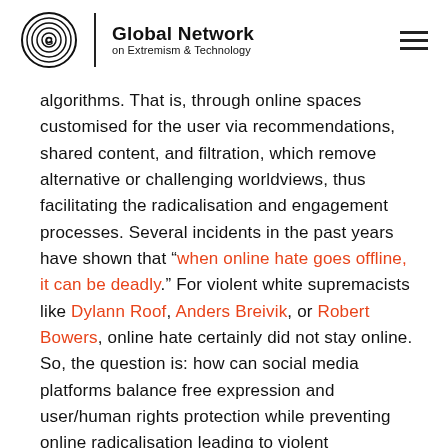Global Network on Extremism & Technology
algorithms. That is, through online spaces customised for the user via recommendations, shared content, and filtration, which remove alternative or challenging worldviews, thus facilitating the radicalisation and engagement processes. Several incidents in the past years have shown that "when online hate goes offline, it can be deadly." For violent white supremacists like Dylann Roof, Anders Breivik, or Robert Bowers, online hate certainly did not stay online. So, the question is: how can social media platforms balance free expression and user/human rights protection while preventing online radicalisation leading to violent